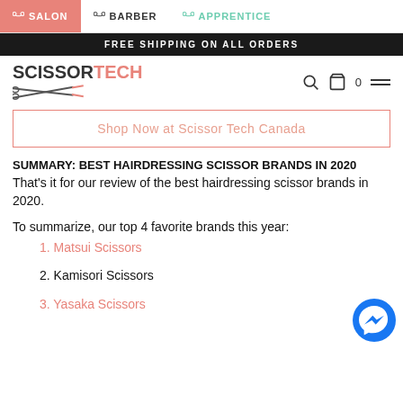SALON | BARBER | APPRENTICE
FREE SHIPPING ON ALL ORDERS
[Figure (logo): ScissorTech logo with scissors graphic]
Shop Now at Scissor Tech Canada
SUMMARY: BEST HAIRDRESSING SCISSOR BRANDS IN 2020
That's it for our review of the best hairdressing scissor brands in 2020.
To summarize, our top 4 favorite brands this year:
1. Matsui Scissors
2. Kamisori Scissors
3. Yasaka Scissors